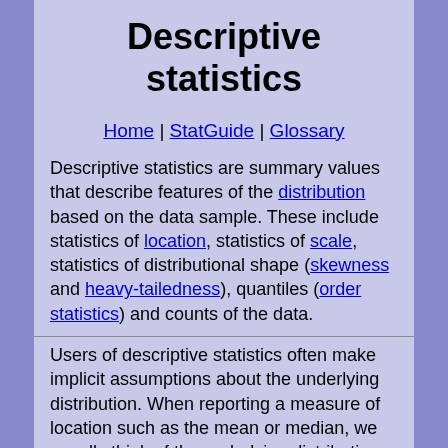Descriptive statistics
Home | StatGuide | Glossary
Descriptive statistics are summary values that describe features of the distribution based on the data sample. These include statistics of location, statistics of scale, statistics of distributional shape (skewness and heavy-tailedness), quantiles (order statistics) and counts of the data.
Users of descriptive statistics often make implicit assumptions about the underlying distribution. When reporting a measure of location such as the mean or median, we usually think of the underlying distribution as having a single "center" or "middle," such as the center "hump" in a normal distribution. Or we may assume that the distribution is continuous. The definitions of the